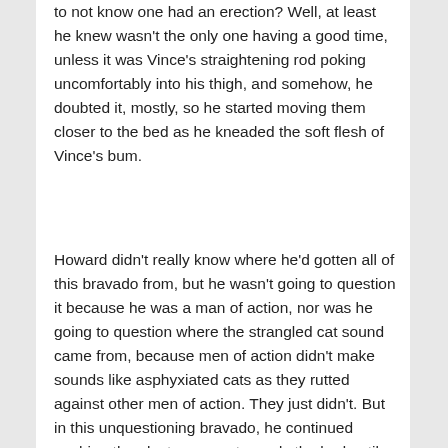to not know one had an erection? Well, at least he knew wasn't the only one having a good time, unless it was Vince's straightening rod poking uncomfortably into his thigh, and somehow, he doubted it, mostly, so he started moving them closer to the bed as he kneaded the soft flesh of Vince's bum.
Howard didn't really know where he'd gotten all of this bravado from, but he wasn't going to question it because he was a man of action, nor was he going to question where the strangled cat sound came from, because men of action didn't make sounds like asphyxiated cats as they rutted against other men of action. They just didn't. But in this unquestioning bravado, he continued pushing the electro ponce towards the bed until Vince's